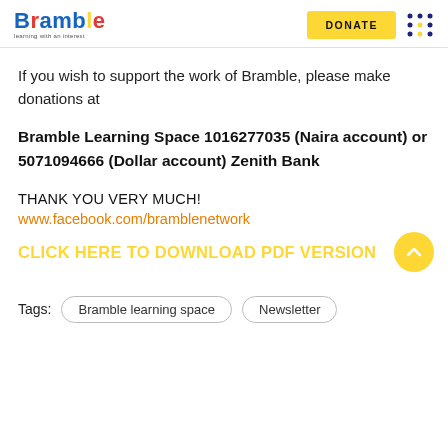[Figure (logo): Bramble colorful logo with tagline]
If you wish to support the work of Bramble, please make donations at
Bramble Learning Space 1016277035 (Naira account) or 5071094666 (Dollar account) Zenith Bank
THANK YOU VERY MUCH!
www.facebook.com/bramblenetwork
CLICK HERE TO DOWNLOAD PDF VERSION
Tags: Bramble learning space  Newsletter